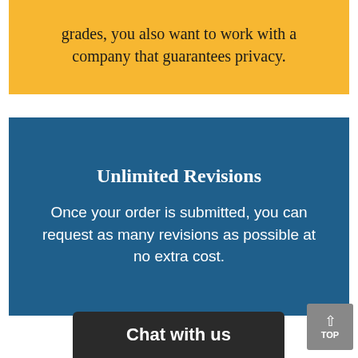grades, you also want to work with a company that guarantees privacy.
Unlimited Revisions
Once your order is submitted, you can request as many revisions as possible at no extra cost.
Chat with us